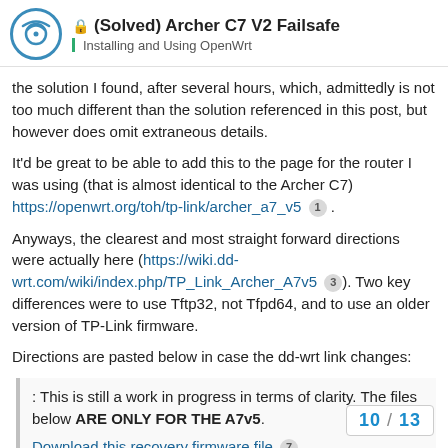(Solved) Archer C7 V2 Failsafe — Installing and Using OpenWrt
the solution I found, after several hours, which, admittedly is not too much different than the solution referenced in this post, but however does omit extraneous details.
It'd be great to be able to add this to the page for the router I was using (that is almost identical to the Archer C7) https://openwrt.org/toh/tp-link/archer_a7_v5 .
Anyways, the clearest and most straight forward directions were actually here (https://wiki.dd-wrt.com/wiki/index.php/TP_Link_Archer_A7v5). Two key differences were to use Tftp32, not Tfpd64, and to use an older version of TP-Link firmware.
Directions are pasted below in case the dd-wrt link changes:
: This is still a work in progress in terms of clarity. The files below ARE ONLY FOR THE A7v5.
Download this recovery firmware file
10 / 13